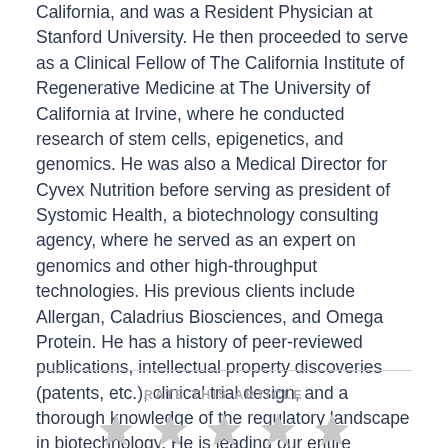California, and was a Resident Physician at Stanford University. He then proceeded to serve as a Clinical Fellow of The California Institute of Regenerative Medicine at The University of California at Irvine, where he conducted research of stem cells, epigenetics, and genomics. He was also a Medical Director for Cyvex Nutrition before serving as president of Systomic Health, a biotechnology consulting agency, where he served as an expert on genomics and other high-throughput technologies. His previous clients include Allergan, Caladrius Biosciences, and Omega Protein. He has a history of peer-reviewed publications, intellectual property discoveries (patents, etc.), clinical trial design, and a thorough knowledge of the regulatory landscape in biotechnology. He is leading our entire scientific and medical team in order to ensure accuracy and scientific validity of our content and products.
RATE THIS ARTICLE